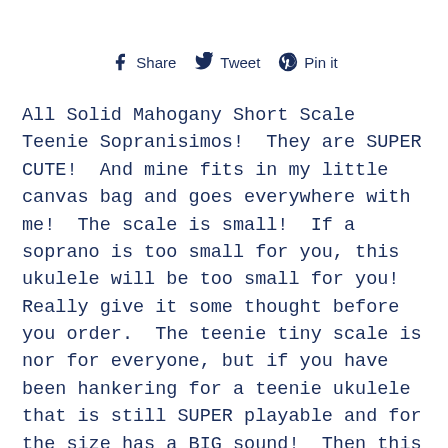[Figure (infographic): Social share buttons: Facebook Share, Twitter Tweet, Pinterest Pin it]
All Solid Mahogany Short Scale Teenie Sopranisimos!  They are SUPER CUTE!  And mine fits in my little canvas bag and goes everywhere with me!  The scale is small!  If a soprano is too small for you, this ukulele will be too small for you!  Really give it some thought before you order.  The teenie tiny scale is nor for everyone, but if you have been hankering for a teenie ukulele that is still SUPER playable and for the size has a BIG sound!  Then this ukulele is for you!